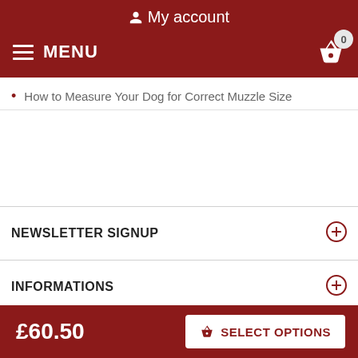My account
MENU  0
How to Measure Your Dog for Correct Muzzle Size
NEWSLETTER SIGNUP
INFORMATIONS
MY ACCOUNT
£60.50
SELECT OPTIONS